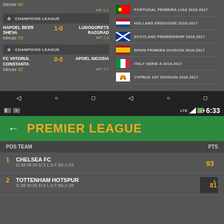[Figure (screenshot): Mobile app screenshot left panel showing Champions League matches: Hapoel Beer Sheva 1-0 Ludogorets Razgrad (Minute 79, HT: 1-0) and FC Viitorul Constanta 0-0 Apoel Nicosia (Minute 32, HT: ?-?)]
[Figure (screenshot): Mobile app screenshot right panel showing league list: Portugal Primeira Liga 2016-2017, Holland Eredivisie 2016-2017, Scotland Premiership 2016-2017, Spain Primera Division 2016-2017, Italy Serie A 2016-2017, Cyprus 1st Division 2016-2017]
[Figure (screenshot): Mobile app screenshot showing Premier League standings with status bar (LTE, 6:33), green header with PREMIER LEAGUE title, table header POS TEAM / PTS, Row 1: Chelsea FC 93pts (G:38 W:30 D:3 L:5 F:85 A:33), Row 2: Tottenham Hotspur 81pts (G:38 W:26 D:8 L:4 F:86 A:26)]